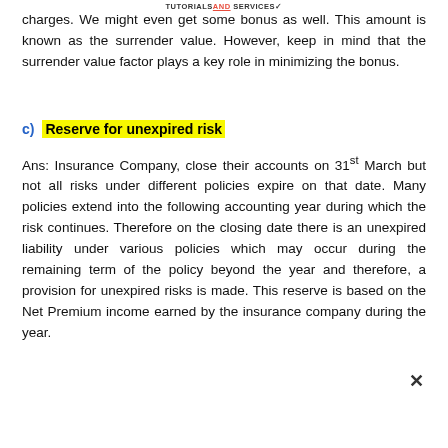TUTORIALSAND SERVICES
charges. We might even get some bonus as well. This amount is known as the surrender value. However, keep in mind that the surrender value factor plays a key role in minimizing the bonus.
c)  Reserve for unexpired risk
Ans: Insurance Company, close their accounts on 31st March but not all risks under different policies expire on that date. Many policies extend into the following accounting year during which the risk continues. Therefore on the closing date there is an unexpired liability under various policies which may occur during the remaining term of the policy beyond the year and therefore, a provision for unexpired risks is made. This reserve is based on the Net Premium income earned by the insurance company during the year.